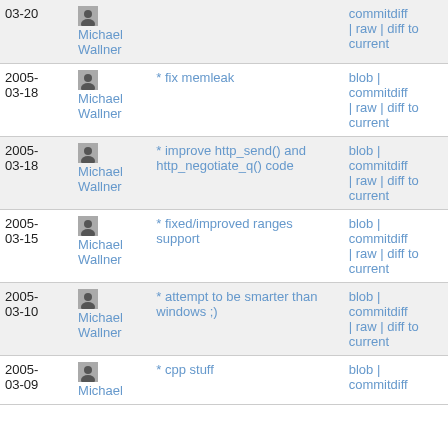| Date | Author | Commit message | Links |
| --- | --- | --- | --- |
| 2005-03-20 | Michael Wallner |  | commitdiff | raw | diff to current |
| 2005-03-18 | Michael Wallner | * fix memleak | blob | commitdiff | raw | diff to current |
| 2005-03-18 | Michael Wallner | * improve http_send() and http_negotiate_q() code | blob | commitdiff | raw | diff to current |
| 2005-03-15 | Michael Wallner | * fixed/improved ranges support | blob | commitdiff | raw | diff to current |
| 2005-03-10 | Michael Wallner | * attempt to be smarter than windows ;) | blob | commitdiff | raw | diff to current |
| 2005-03-09 | Michael Wallner | * cpp stuff | blob | commitdiff |